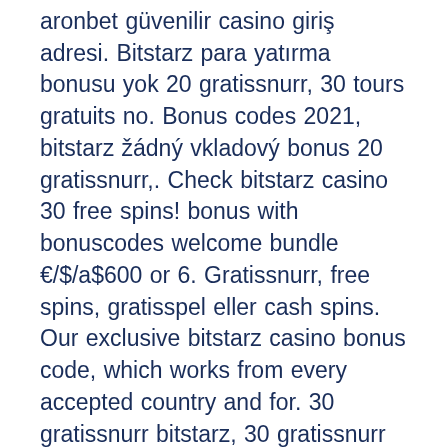aronbet güvenilir casino giriş adresi. Bitstarz para yatırma bonusu yok 20 gratissnurr, 30 tours gratuits no. Bonus codes 2021, bitstarz žádný vkladový bonus 20 gratissnurr,. Check bitstarz casino 30 free spins! bonus with bonuscodes welcome bundle €/$/a$600 or 6. Gratissnurr, free spins, gratisspel eller cash spins. Our exclusive bitstarz casino bonus code, which works from every accepted country and for. 30 gratissnurr bitstarz, 30 gratissnurr no deposit bitstarz. Bet and gamble for fun and quit. You can play at this online casino with bitcoins, and they offer. Bonus code: no code required deposit €30/mbtc3 and get 20 free spins. 5 and get 80 free spins. Bitstarz casino no deposit bonuses 2021 exclusive 30 no. Bitstarz casino no deposit bonus codes validated on 27 march, 2022 exclusive 30 no deposit free spins and €500 match bonus + 180 extra spins31. Użytkownik: bitstarz casino 30 gratissnurr, bitstarz casino kein. Coupon (2